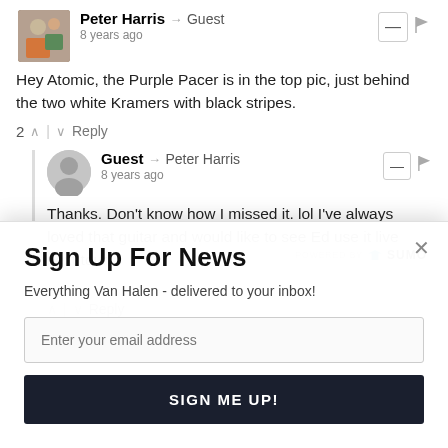Peter Harris → Guest
8 years ago
Hey Atomic, the Purple Pacer is in the top pic, just behind the two white Kramers with black stripes.
2 ↑ | ↓ Reply
Guest → Peter Harris
8 years ago
Thanks. Don't know how I missed it. lol I've always loved that guitar and would like to see Ed use it live next tour.
POWERED BY SUMO
Sign Up For News
Everything Van Halen - delivered to your inbox!
Enter your email address
SIGN ME UP!